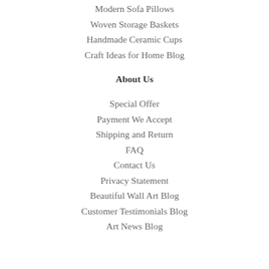Modern Sofa Pillows
Woven Storage Baskets
Handmade Ceramic Cups
Craft Ideas for Home Blog
About Us
Special Offer
Payment We Accept
Shipping and Return
FAQ
Contact Us
Privacy Statement
Beautiful Wall Art Blog
Customer Testimonials Blog
Art News Blog